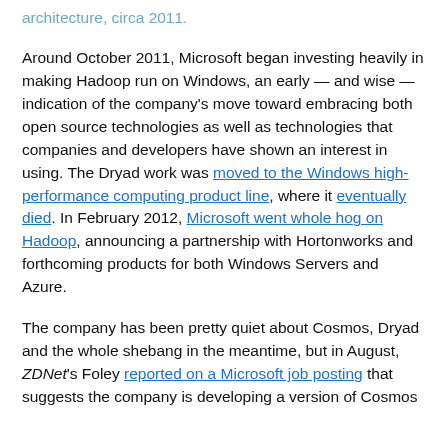architecture, circa 2011.
Around October 2011, Microsoft began investing heavily in making Hadoop run on Windows, an early — and wise — indication of the company's move toward embracing both open source technologies as well as technologies that companies and developers have shown an interest in using. The Dryad work was moved to the Windows high-performance computing product line, where it eventually died. In February 2012, Microsoft went whole hog on Hadoop, announcing a partnership with Hortonworks and forthcoming products for both Windows Servers and Azure.
The company has been pretty quiet about Cosmos, Dryad and the whole shebang in the meantime, but in August, ZDNet's Foley reported on a Microsoft job posting that suggests the company is developing a version of Cosmos